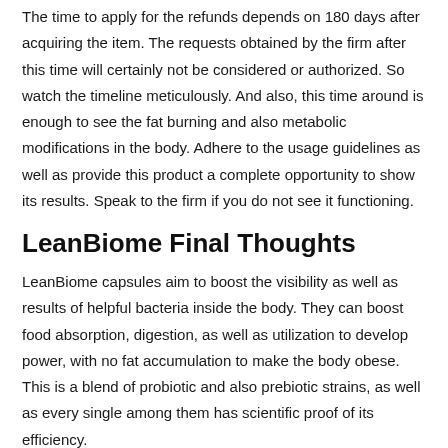The time to apply for the refunds depends on 180 days after acquiring the item. The requests obtained by the firm after this time will certainly not be considered or authorized. So watch the timeline meticulously. And also, this time around is enough to see the fat burning and also metabolic modifications in the body. Adhere to the usage guidelines as well as provide this product a complete opportunity to show its results. Speak to the firm if you do not see it functioning.
LeanBiome Final Thoughts
LeanBiome capsules aim to boost the visibility as well as results of helpful bacteria inside the body. They can boost food absorption, digestion, as well as utilization to develop power, with no fat accumulation to make the body obese. This is a blend of probiotic and also prebiotic strains, as well as every single among them has scientific proof of its efficiency.
There is more to this product...